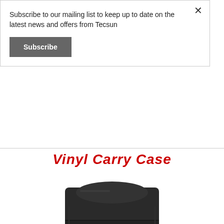Subscribe to our mailing list to keep up to date on the latest news and offers from Tecsun
Subscribe
Vinyl Carry Case
[Figure (photo): Black Tecsun vinyl carry case, tall rectangular shape with flap closure and TECSUN logo on front, photographed on white background]